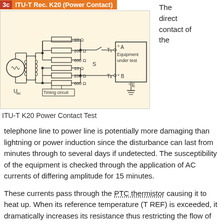3c ITU-T Rec. K20 (Power Contact)
[Figure (circuit-diagram): ITU-T K20 Power Contact Test circuit diagram showing AC source (Uac), transformer, resistors (10Ω, 200Ω, 600Ω on two branches), switch S, terminals T1 and T2, and Equipment under test with terminals A, B, E (ground)]
The direct contact of the
ITU-T K20 Power Contact Test
telephone line to power line is potentially more damaging than lightning or power induction since the disturbance can last from minutes through to several days if undetected. The susceptibility of the equipment is checked through the application of AC currents of differing amplitude for 15 minutes.
These currents pass through the PTC thermistor causing it to heat up. When its reference temperature (T REF) is exceeded, it dramatically increases its resistance thus restricting the flow of this harmful current into the equipment.